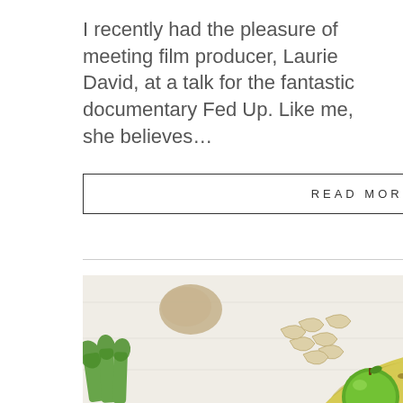I recently had the pleasure of meeting film producer, Laurie David, at a talk for the fantastic documentary Fed Up. Like me, she believes…
READ MORE
[Figure (photo): Overhead flat-lay photo of fruits and nuts on a light surface: cashews, ground seeds, kiwi halves, green spinach leaves, celery, a banana, and a green apple.]